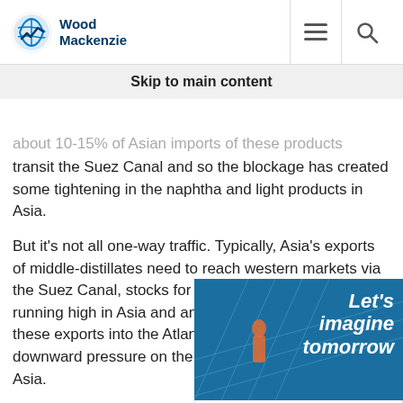Wood Mackenzie
is structurally short of naphtha for petrochemical
Skip to main content
about 10-15% of Asian imports of these products transit the Suez Canal and so the blockage has created some tightening in the naphtha and light products in Asia.
[Figure (screenshot): Wood Mackenzie advertisement with text 'Let's imagine tomorrow' and Act now button]
But it's not all one-way traffic. Typically, Asia's exports of middle-distillates need to reach western markets via the Suez Canal, stocks for these fuels were already running high in Asia and any further delay in clearing these exports into the Atlantic Basin will put a downward pressure on the middle-distillates prices in Asia.
Key takeaway: Despite the short-term impact of the